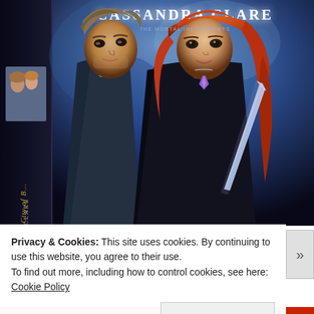[Figure (photo): Book cover for 'City of Bones' by Cassandra Clare (Mortal Instruments series), showing two figures — a male and female young adult — against a blue fantasy background. The book spine is visible on the left with 'City of Bones' written vertically. The author name 'Cassandra Clare' appears at the top of the cover. A smaller previous book cover is visible on the spine. The female figure holds a glowing sword and wears a purple crystal necklace.]
Privacy & Cookies: This site uses cookies. By continuing to use this website, you agree to their use.
To find out more, including how to control cookies, see here: Cookie Policy
Close and accept